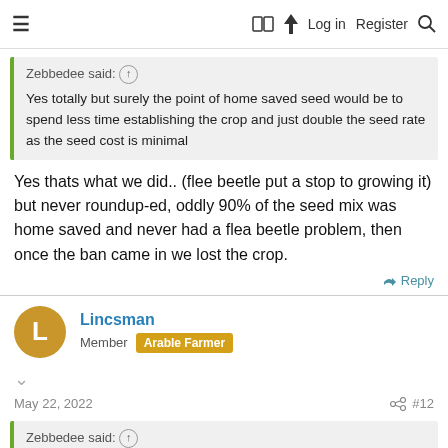≡  [book] [bolt] Log in  Register [search]
Zebbedee said: ↑
Yes totally but surely the point of home saved seed would be to spend less time establishing the crop and just double the seed rate as the seed cost is minimal
Yes thats what we did.. (flee beetle put a stop to growing it) but never roundup-ed, oddly 90% of the seed mix was home saved and never had a flea beetle problem, then once the ban came in we lost the crop.
Reply
Lincsman
Member  Arable Farmer
May 22, 2022  #12
Zebbedee said: ↑